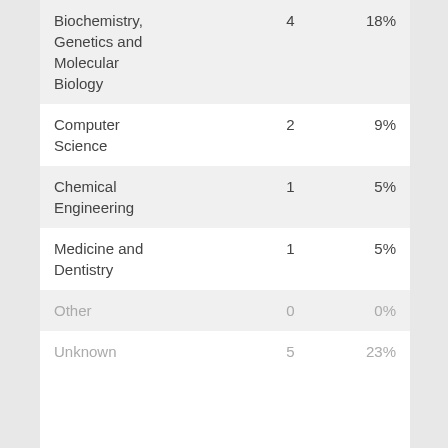| Subject Area | Count | Percentage |
| --- | --- | --- |
| Biochemistry, Genetics and Molecular Biology | 4 | 18% |
| Computer Science | 2 | 9% |
| Chemical Engineering | 1 | 5% |
| Medicine and Dentistry | 1 | 5% |
| Other | 0 | 0% |
| Unknown | 5 | 23% |
This page is provided by Altmetric.